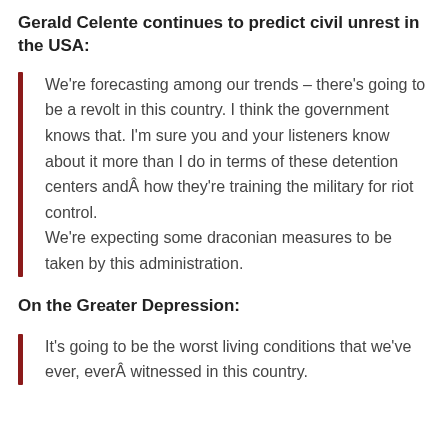Gerald Celente continues to predict civil unrest in the USA:
We're forecasting among our trends – there's going to be a revolt in this country. I think the government knows that. I'm sure you and your listeners know about it more than I do in terms of these detention centers andÂ how they're training the military for riot control. We're expecting some draconian measures to be taken by this administration.
On the Greater Depression:
It's going to be the worst living conditions that we've ever, everÂ witnessed in this country.